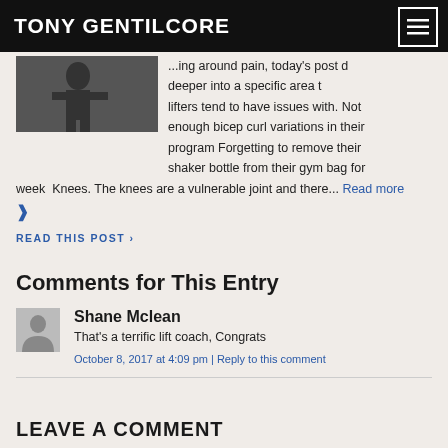TONY GENTILCORE
...ing around pain, today's post dives deeper into a specific area that lifters tend to have issues with. Not enough bicep curl variations in their program Forgetting to remove their shaker bottle from their gym bag for week  Knees. The knees are a vulnerable joint and there... Read more ❯
READ THIS POST ›
Comments for This Entry
Shane Mclean
That's a terrific lift coach, Congrats
October 8, 2017 at 4:09 pm | Reply to this comment
LEAVE A COMMENT